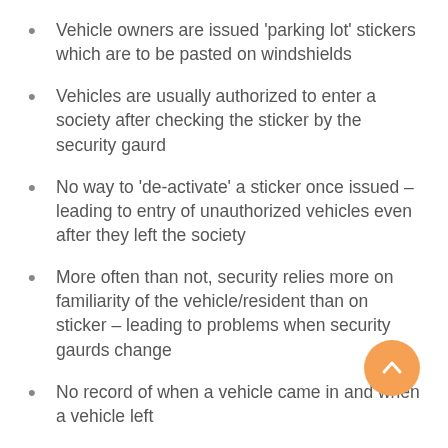Vehicle owners are issued 'parking lot' stickers which are to be pasted on windshields
Vehicles are usually authorized to enter a society after checking the sticker by the security gaurd
No way to 'de-activate' a sticker once issued – leading to entry of unauthorized vehicles even after they left the society
More often than not, security relies more on familiarity of the vehicle/resident than on sticker – leading to problems when security gaurds change
No record of when a vehicle came in and when a vehicle left
We, at ApnaComplex, are proud to announce the